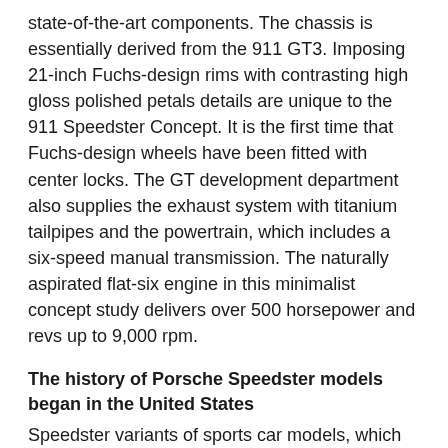state-of-the-art components. The chassis is essentially derived from the 911 GT3. Imposing 21-inch Fuchs-design rims with contrasting high gloss polished petals details are unique to the 911 Speedster Concept. It is the first time that Fuchs-design wheels have been fitted with center locks. The GT development department also supplies the exhaust system with titanium tailpipes and the powertrain, which includes a six-speed manual transmission. The naturally aspirated flat-six engine in this minimalist concept study delivers over 500 horsepower and revs up to 9,000 rpm.
The history of Porsche Speedster models began in the United States
Speedster variants of sports car models, which combine open-top driving pleasure with incredibly distinctive driving dynamics, have been part of the Porsche company history since 1952. The forefather of Porsche Speedster models, the 356 1500 America Roadster, had an aluminum body manufactured entirely by hand. It weighed about 130 pounds less than the 356 Coupe and its top track speed of